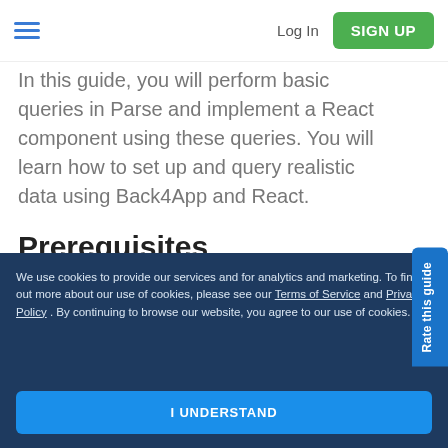Log In  SIGN UP
In this guide, you will perform basic queries in Parse and implement a React component using these queries. You will learn how to set up and query realistic data using Back4App and React.
Prerequisites
To complete this tutorial, you will need:
A React App created and
We use cookies to provide our services and for analytics and marketing. To find out more about our use of cookies, please see our Terms of Service and Privacy Policy. By continuing to browse our website, you agree to our use of cookies.
I UNDERSTAND